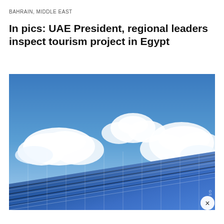BAHRAIN, MIDDLE EAST
In pics: UAE President, regional leaders inspect tourism project in Egypt
[Figure (photo): Solar panels in foreground angled diagonally with blue sky and white cumulus clouds in the background. A watermark is visible on the right side. A close/dismiss button (×) appears at bottom right.]